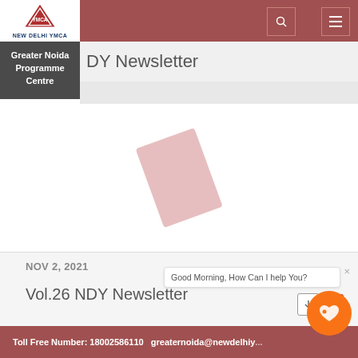NEW DELHI YMCA
Greater Noida Programme Centre
NDY Newsletter
[Figure (other): A rotated pink/rose colored rectangular shape resembling a PDF document icon in loading state]
NOV 2, 2021
Vol.26 NDY Newsletter
Good Morning, How Can I help You?
Toll Free Number: 18002586110   greaternoida@newdelhiy...